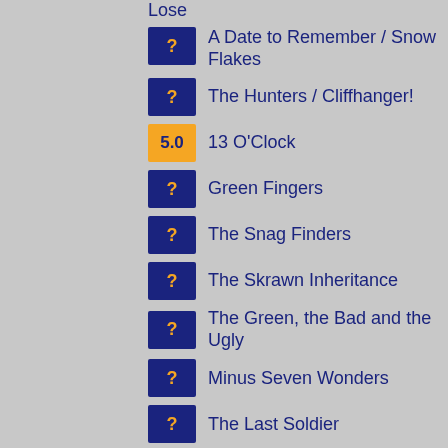Lose
A Date to Remember / Snow Flakes
The Hunters / Cliffhanger!
13 O'Clock
Green Fingers
The Snag Finders
The Skrawn Inheritance
The Green, the Bad and the Ugly
Minus Seven Wonders
The Last Soldier
Signs of Life
Cold War
Waste Not
A Klytode Christmas
The Monster Upstairs
Hot Metal
The Halls of Sacrifice